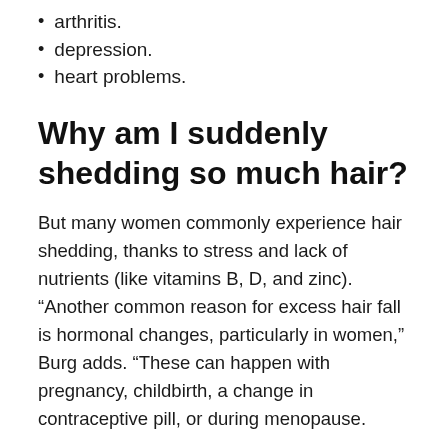arthritis.
depression.
heart problems.
Why am I suddenly shedding so much hair?
But many women commonly experience hair shedding, thanks to stress and lack of nutrients (like vitamins B, D, and zinc). “Another common reason for excess hair fall is hormonal changes, particularly in women,” Burg adds. “These can happen with pregnancy, childbirth, a change in contraceptive pill, or during menopause.
Why does my hair fall out